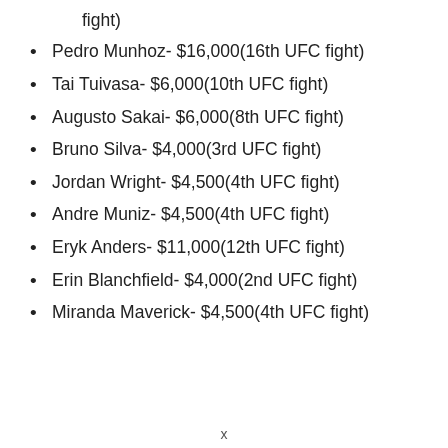fight)
Pedro Munhoz- $16,000(16th UFC fight)
Tai Tuivasa- $6,000(10th UFC fight)
Augusto Sakai- $6,000(8th UFC fight)
Bruno Silva- $4,000(3rd UFC fight)
Jordan Wright- $4,500(4th UFC fight)
Andre Muniz- $4,500(4th UFC fight)
Eryk Anders- $11,000(12th UFC fight)
Erin Blanchfield- $4,000(2nd UFC fight)
Miranda Maverick- $4,500(4th UFC fight)